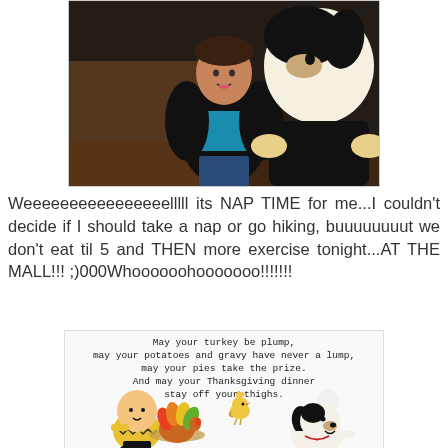[Figure (photo): Person in a black fur jacket posing with a large Snoopy character costume outdoors at night]
Weeeeeeeeeeeeeeeelllll its NAP TIME for me...I couldn't decide if I should take a nap or go hiking, buuuuuuuut we don't eat til 5 and THEN more exercise tonight...AT THE MALL!!! ;)000Whoooooohooooooo!!!!!!!
[Figure (illustration): Peanuts characters Charlie Brown, Woodstock, and Snoopy (as chef) with a turkey. Text reads: May your turkey be plump, may your potatoes and gravy have never a lump, may your pies take the prize. And may your Thanksgiving dinner stay off your thighs.]